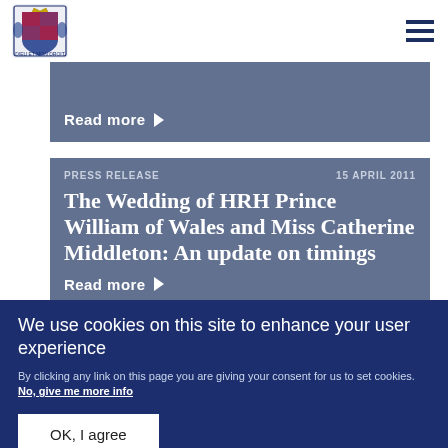Royal.uk website header with coat of arms logo and hamburger menu
Read more ▶
PRESS RELEASE   15 APRIL 2011
The Wedding of HRH Prince William of Wales and Miss Catherine Middleton: An update on timings
Read more ▶
We use cookies on this site to enhance your user experience
By clicking any link on this page you are giving your consent for us to set cookies. No, give me more info
OK, I agree